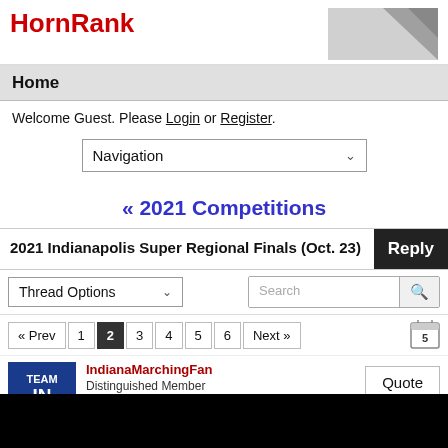HornRank
Home
Welcome Guest. Please Login or Register.
Navigation
« 2021 Competitions
2021 Indianapolis Super Regional Finals (Oct. 23)
Thread Options
« Prev 1 2 3 4 5 6 Next »
IndianaMarchingFan
Distinguished Member
Oct 24, 2021 at 1:39am